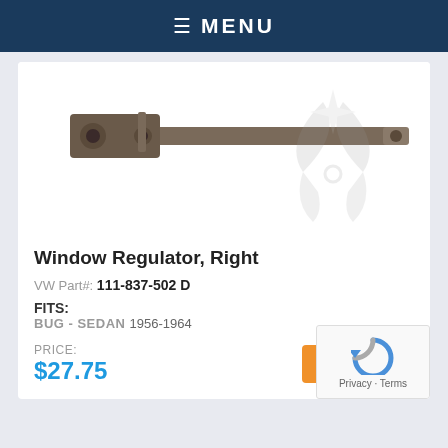≡ MENU
[Figure (photo): Window regulator, right — a metal arm and track assembly with scissors mechanism, shown against white background with a faint logo watermark]
Window Regulator, Right
VW Part#: 111-837-502 D
FITS:
BUG - SEDAN 1956-1964
PRICE:
$27.75
View More